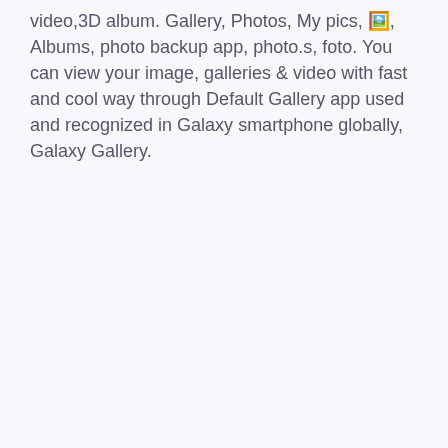video,3D album. Gallery, Photos, My pics, 🖼️, Albums, photo backup app, photo.s, foto. You can view your image, galleries & video with fast and cool way through Default Gallery app used and recognized in Galaxy smartphone globally, Galaxy Gallery.